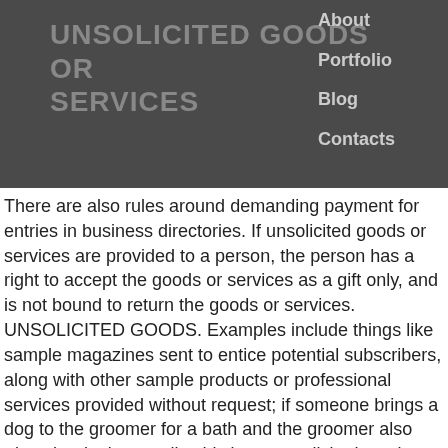UNSOLICITED GOODS OR SERVICES
About
Portfolio
Blog
Contacts
There are also rules around demanding payment for entries in business directories. If unsolicited goods or services are provided to a person, the person has a right to accept the goods or services as a gift only, and is not bound to return the goods or services. UNSOLICITED GOODS. Examples include things like sample magazines sent to entice potential subscribers, along with other sample products or professional services provided without request; if someone brings a dog to the groomer for a bath and the groomer also trims the dog's toenails, this is an unsolicited service. With regard to PPCs, the legislation that applies to unsolicited goods and services doesn't apply in their